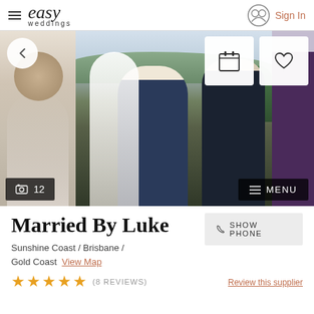easy weddings — Sign In
[Figure (photo): Wedding ceremony photo showing officiant and groom with bride in foreground wearing veil, outdoor setting with mountains in background. Side panels show partial views of other attendees.]
Married By Luke
Sunshine Coast / Brisbane / Gold Coast
View Map
SHOW PHONE
(8 REVIEWS)
Review this supplier